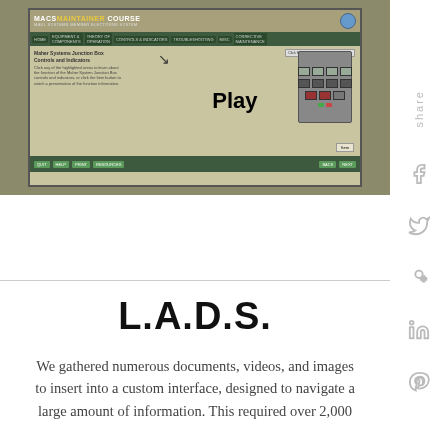[Figure (screenshot): Screenshot of MACS Maintainer Course e-learning interface showing Maher Systems Junction Box Controls and Indicators module with a 'Play' button and a device image, navigation bars in olive/dark green.]
L.A.D.S.
We gathered numerous documents, videos, and images to insert into a custom interface, designed to navigate a large amount of information. This required over 2,000